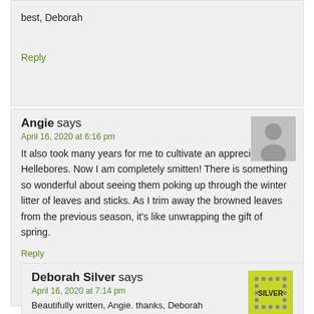best, Deborah
Reply
Angie says
April 16, 2020 at 6:16 pm
It also took many years for me to cultivate an appreciation for Hellebores. Now I am completely smitten! There is something so wonderful about seeing them poking up through the winter litter of leaves and sticks. As I trim away the browned leaves from the previous season, it's like unwrapping the gift of spring.
Reply
Deborah Silver says
April 16, 2020 at 7:14 pm
Beautifully written, Angie. thanks, Deborah